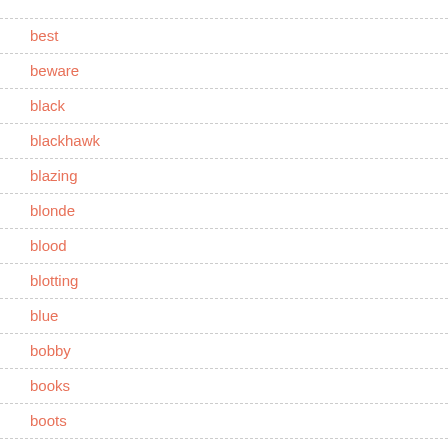best
beware
black
blackhawk
blazing
blonde
blood
blotting
blue
bobby
books
boots
bought